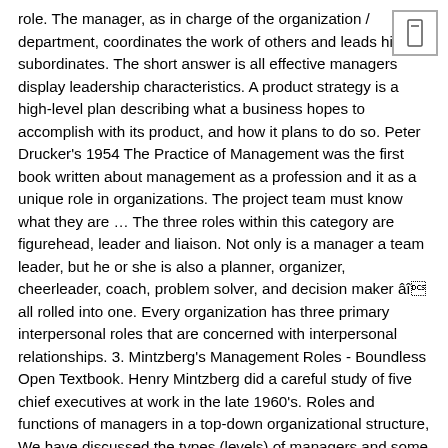role. The manager, as in charge of the organization / department, coordinates the work of others and leads his subordinates. The short answer is all effective managers display leadership characteristics. A product strategy is a high-level plan describing what a business hopes to accomplish with its product, and how it plans to do so. Peter Drucker's 1954 The Practice of Management was the first book written about management as a profession and it as a unique role in organizations. The project team must know what they are … The three roles within this category are figurehead, leader and liaison. Not only is a manager a team leader, but he or she is also a planner, organizer, cheerleader, coach, problem solver, and decision maker âî all rolled into one. Every organization has three primary interpersonal roles that are concerned with interpersonal relationships. 3. Mintzberg's Management Roles - Boundless Open Textbook. Henry Mintzberg did a careful study of five chief executives at work in the late 1960's. Roles and functions of managers in a top-down organizational structure, We have discussed the types (levels) of managers and some of their responsibilities but not their specific activities. Informational roles involve the receiving and sending of information—whether as a spokesperson, a mentor, a trainer, or an administrator. The manager seeks and receives information concerning internal and external events so as to gain understanding of the organization and its environment. Q1. The informational role for first-line managers is
[Figure (other): Small square button icon with a bookmark/menu symbol inside, positioned top-right of the page]